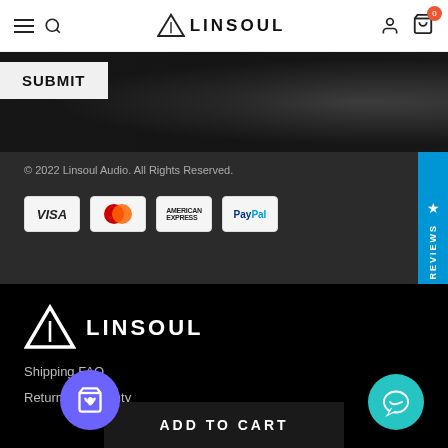LINSOUL
SUBMIT
© 2022 Linsoul Audio. All Rights Reserved.
[Figure (other): Payment method icons: VISA, Mastercard, American Express, PayPal]
[Figure (other): Judge.me Reviews sidebar badge in blue]
[Figure (logo): Linsoul Audio logo - triangle icon with LINSOUL text in white]
Shipping FAQ
Return & Warranty
ADD TO CART